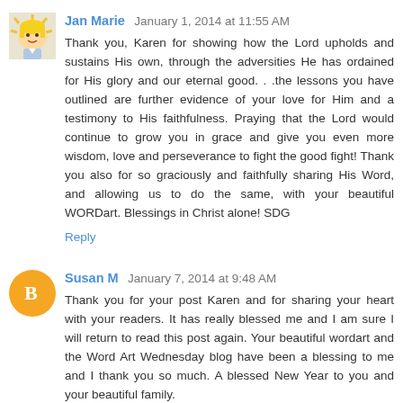[Figure (illustration): Avatar image of Jan Marie - cartoon style illustration of a blonde woman]
Jan Marie January 1, 2014 at 11:55 AM
Thank you, Karen for showing how the Lord upholds and sustains His own, through the adversities He has ordained for His glory and our eternal good. . .the lessons you have outlined are further evidence of your love for Him and a testimony to His faithfulness. Praying that the Lord would continue to grow you in grace and give you even more wisdom, love and perseverance to fight the good fight! Thank you also for so graciously and faithfully sharing His Word, and allowing us to do the same, with your beautiful WORDart. Blessings in Christ alone! SDG
Reply
[Figure (logo): Blogger orange circle avatar icon with white B letter]
Susan M January 7, 2014 at 9:48 AM
Thank you for your post Karen and for sharing your heart with your readers. It has really blessed me and I am sure I will return to read this post again. Your beautiful wordart and the Word Art Wednesday blog have been a blessing to me and I thank you so much. A blessed New Year to you and your beautiful family.